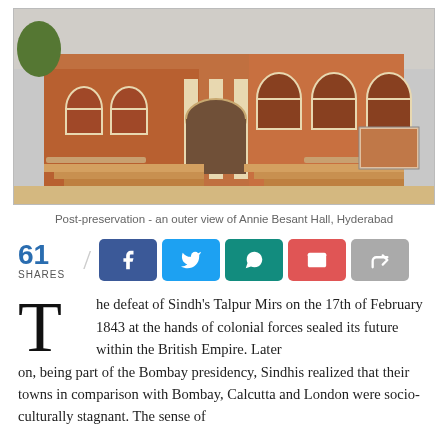[Figure (photo): Post-preservation outer view of Annie Besant Hall, Hyderabad — a red brick colonial building with arched windows, columns, and staircases]
Post-preservation - an outer view of Annie Besant Hall, Hyderabad
61 SHARES
The defeat of Sindh's Talpur Mirs on the 17th of February 1843 at the hands of colonial forces sealed its future within the British Empire. Later on, being part of the Bombay presidency, Sindhis realized that their towns in comparison with Bombay, Calcutta and London were socio-culturally stagnant. The sense of